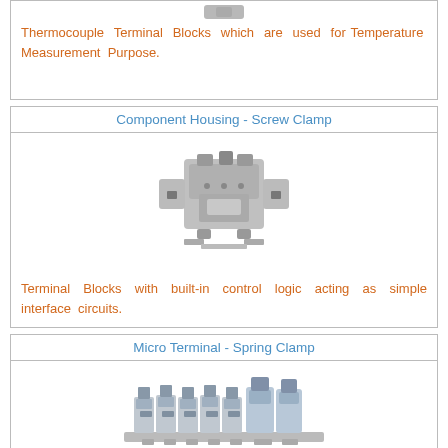[Figure (photo): Thermocouple terminal block component photo (partially visible at top)]
Thermocouple Terminal Blocks which are used for Temperature Measurement Purpose.
Component Housing - Screw Clamp
[Figure (photo): Component Housing Screw Clamp terminal block photo showing grey plastic housing with screw clamp connections]
Terminal Blocks with built-in control logic acting as simple interface circuits.
Micro Terminal - Spring Clamp
[Figure (photo): Micro Terminal Spring Clamp terminal blocks photo showing compact grey multi-pole spring clamp terminal blocks on DIN rail]
Compact Terminal Blocks for extremely limited space